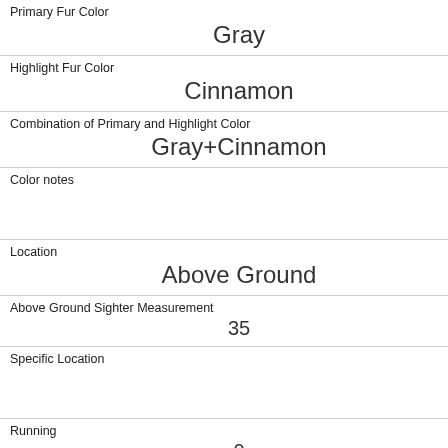| Primary Fur Color | Gray |
| Highlight Fur Color | Cinnamon |
| Combination of Primary and Highlight Color | Gray+Cinnamon |
| Color notes |  |
| Location | Above Ground |
| Above Ground Sighter Measurement | 35 |
| Specific Location |  |
| Running | 0 |
| Chasing | 0 |
| Climbing | 1 |